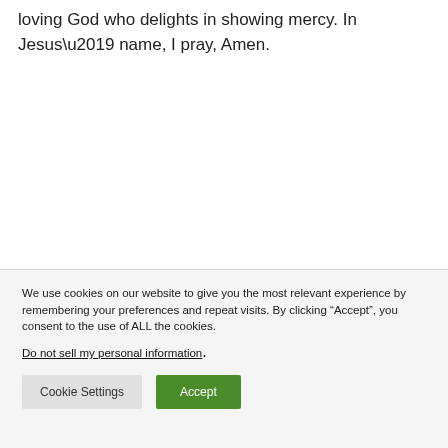loving God who delights in showing mercy. In Jesus' name, I pray, Amen.
We use cookies on our website to give you the most relevant experience by remembering your preferences and repeat visits. By clicking “Accept”, you consent to the use of ALL the cookies.
Do not sell my personal information.